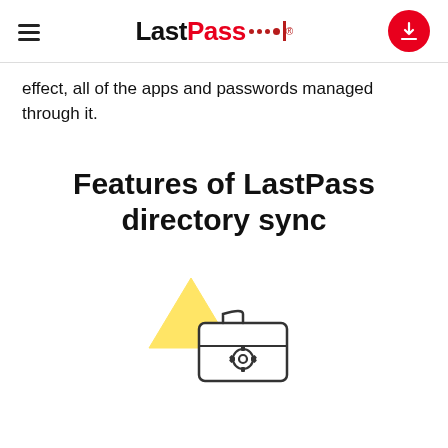LastPass
effect, all of the apps and passwords managed through it.
Features of LastPass directory sync
[Figure (illustration): Icon showing a yellow warning triangle overlapping with a briefcase/toolbox that has a gear/settings icon inside it]